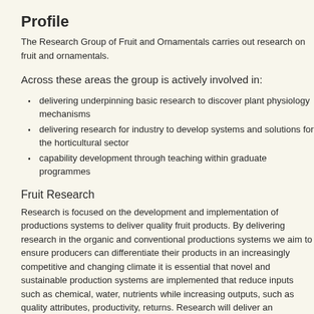Profile
The Research Group of Fruit and Ornamentals carries out research on fruit and ornamentals.
Across these areas the group is actively involved in:
delivering underpinning basic research to discover plant physiology mechanisms
delivering research for industry to develop systems and solutions for the horticultural sector
capability development through teaching within graduate programmes
Fruit Research
Research is focused on the development and implementation of productions systems to deliver quality fruit products. By delivering research in the organic and conventional productions systems we aim to ensure producers can differentiate their products in an increasingly competitive and changing climate it is essential that novel and sustainable production systems are implemented that reduce inputs such as chemical, water, nutrients while increasing outputs, such as quality attributes, productivity, returns. Research will deliver an increased knowledge on the inner and external attributes increasing the likelihood of consumers choosing a healthy food, leading to improved health and wellbeing.
Main crops include:
Berries; strawberry, raspberry, blackcurrants
Pipfruit; apples, pears
Stonefruit; apricots, plums, sweet cherries, sour cherries
Main disciplines include: